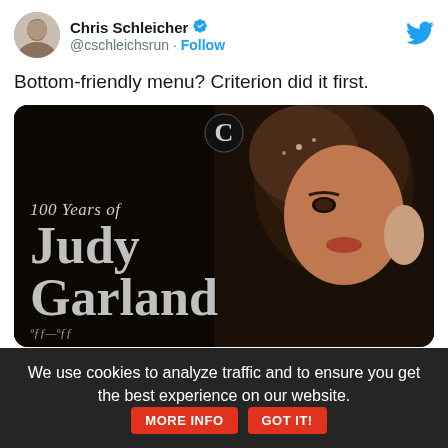Chris Schleicher @cschleichsrun · Follow
Bottom-friendly menu? Criterion did it first.
[Figure (screenshot): Screenshot of a Criterion Collection webpage showing '100 Years of Judy Garland' with a close-up photo of Judy Garland and the Criterion logo at the top center. The image has dark background with silver/gray stylized text.]
We use cookies to analyze traffic and to ensure you get the best experience on our website. MORE INFO GOT IT!